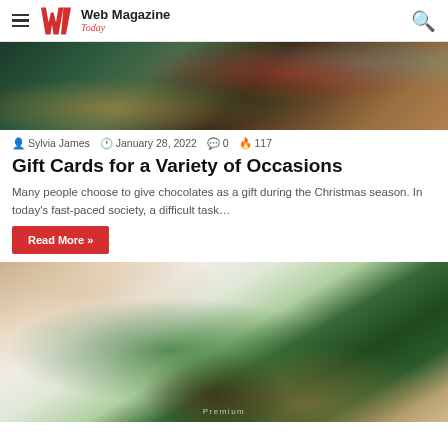Web Magazine Today — navigation header with hamburger menu and search icon
[Figure (photo): Christmas-themed flat lay with pine branches, dried citrus slices, red berries, gift wrapping, and decorative elements on dark wooden surface]
Sylvia James  January 28, 2022  0  117
Gift Cards for a Variety of Occasions
Many people choose to give chocolates as a gift during the Christmas season. In today's fast-paced society, a difficult task…
Read More »
[Figure (photo): CBD oil dropper bottle (amber glass) with green cannabis/hemp leaves on a light beige background with wooden circular platform]